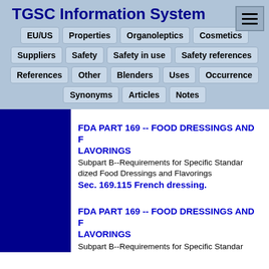TGSC Information System
EU/US
Properties
Organoleptics
Cosmetics
Suppliers
Safety
Safety in use
Safety references
References
Other
Blenders
Uses
Occurrence
Synonyms
Articles
Notes
FDA PART 169 -- FOOD DRESSINGS AND FLAVORINGS
Subpart B--Requirements for Specific Standardized Food Dressings and Flavorings
Sec. 169.115 French dressing.
FDA PART 169 -- FOOD DRESSINGS AND FLAVORINGS
Subpart B--Requirements for Specific Standardized Food Dressings and Flavorings